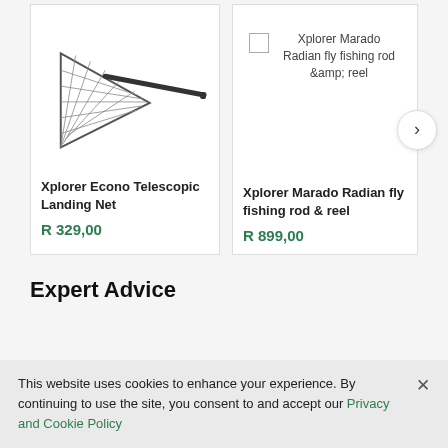[Figure (photo): Xplorer Econo Telescopic Landing Net product image — a triangular fishing landing net with dark mesh and a long telescopic handle extending to the right]
Xplorer Econo Telescopic Landing Net
R 329,00
[Figure (other): Checkbox with label: Xplorer Marado Radian fly fishing rod &amp; reel — compare checkbox UI element]
Xplorer Marado Radian fly fishing rod & reel
R 899,00
Expert Advice
This website uses cookies to enhance your experience. By continuing to use the site, you consent to and accept our Privacy and Cookie Policy